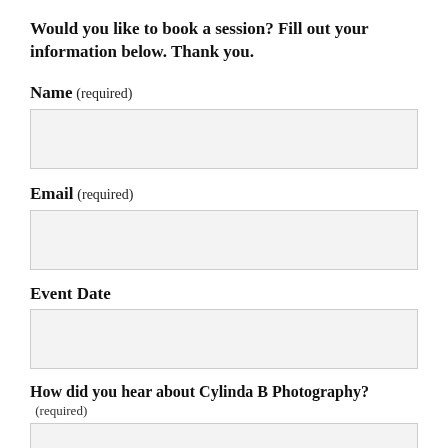Would you like to book a session? Fill out your information below. Thank you.
Name (required)
Email (required)
Event Date
How did you hear about Cylinda B Photography? (required)